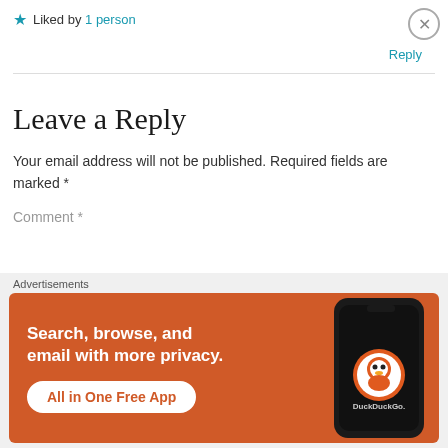★ Liked by 1 person
Reply
Leave a Reply
Your email address will not be published. Required fields are marked *
Comment *
Advertisements
[Figure (other): DuckDuckGo advertisement banner: 'Search, browse, and email with more privacy. All in One Free App' with DuckDuckGo logo and phone image on orange background]